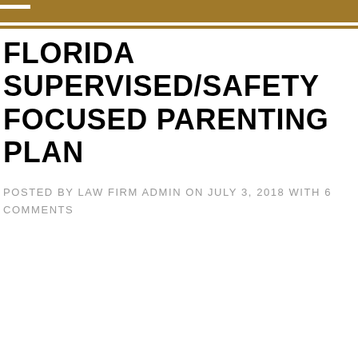FLORIDA SUPERVISED/SAFETY FOCUSED PARENTING PLAN
POSTED BY LAW FIRM ADMIN ON JULY 3, 2018 WITH 6 COMMENTS